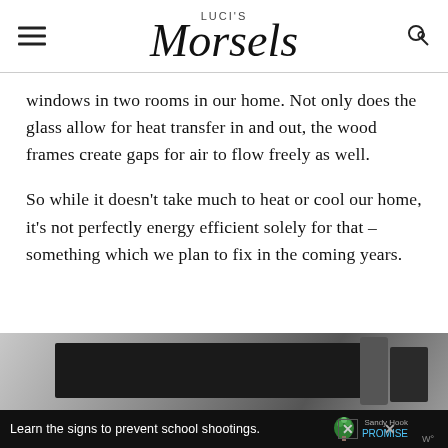LUCI'S Morsels
windows in two rooms in our home. Not only does the glass allow for heat transfer in and out, the wood frames create gaps for air to flow freely as well.
So while it doesn't take much to heat or cool our home, it's not perfectly energy efficient solely for that – something which we plan to fix in the coming years.
[Figure (photo): Bottom of page: a dark photo partially visible, with an advertisement banner overlay reading 'Learn the signs to prevent school shootings.' with Sandy Hook Promise logo]
Learn the signs to prevent school shootings. Sandy Hook PROMISE